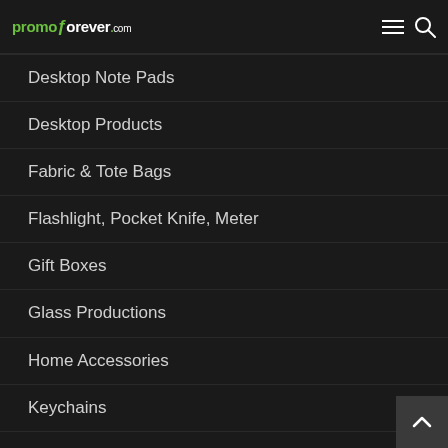promoforever.com
Desktop Note Pads
Desktop Products
Fabric & Tote Bags
Flashlight, Pocket Knife, Meter
Gift Boxes
Glass Productions
Home Accessories
Keychains
Kitchenware
Lanyards
Magnetic Products
Medical Products